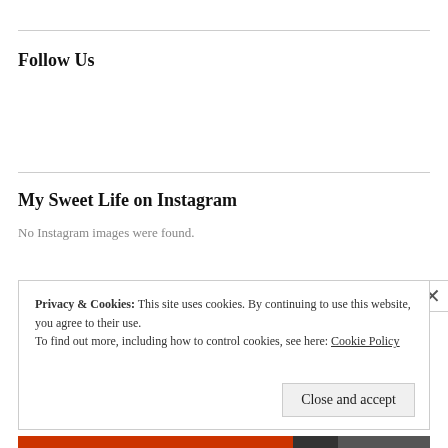Follow Us
My Sweet Life on Instagram
No Instagram images were found.
Privacy & Cookies: This site uses cookies. By continuing to use this website, you agree to their use.
To find out more, including how to control cookies, see here: Cookie Policy
Close and accept